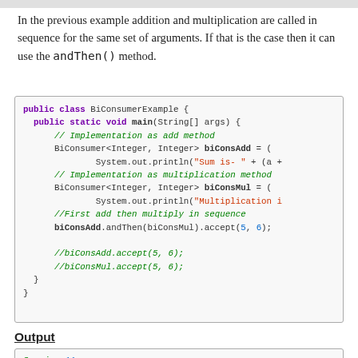In the previous example addition and multiplication are called in sequence for the same set of arguments. If that is the case then it can use the andThen() method.
[Figure (screenshot): Java code block showing BiConsumerExample class with biConsAdd and biConsMul lambda implementations using andThen() method]
Output
[Figure (screenshot): Output box showing: Sum is- 11, Multiplication is- 30]